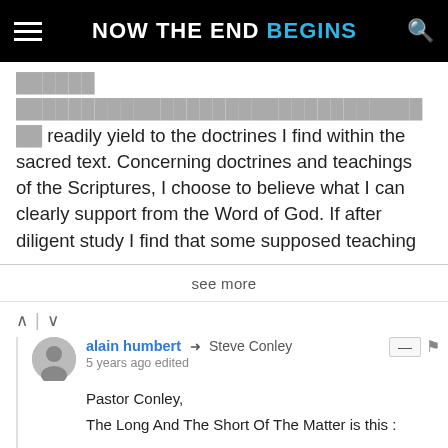NOW THE END BEGINS
...readily yield to the doctrines I find within the sacred text. Concerning doctrines and teachings of the Scriptures, I choose to believe what I can clearly support from the Word of God. If after diligent study I find that some supposed teaching
see more
alain humbert → Steve Conley
5 years ago edited
Pastor Conley,
The Long And The Short Of The Matter is this :

1/ The Bride OF CHRIST (THE HOLY-SPIRIT-Indwelt Church)
Still on earth (Not Raptured) :
No anti-CHRIST ushering in yet,
For Cause OF HOLY-SPIRIT-RESTRAINING.

2/ The HOLY-SPIRIT-Indwelt Church (The Bride OF